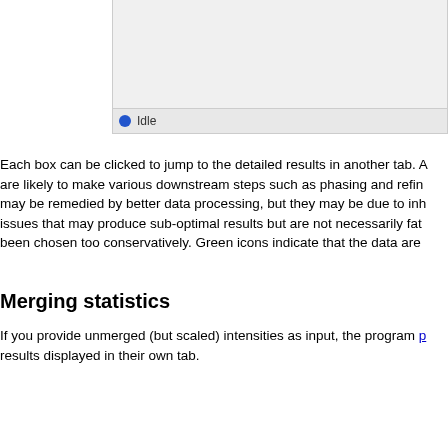[Figure (screenshot): Top portion of a software application window showing an empty gray area with a status bar at the bottom reading 'Idle' with a blue dot indicator]
Each box can be clicked to jump to the detailed results in another tab. are likely to make various downstream steps such as phasing and refin may be remedied by better data processing, but they may be due to inh issues that may produce sub-optimal results but are not necessarily fat been chosen too conservatively. Green icons indicate that the data are
Merging statistics
If you provide unmerged (but scaled) intensities as input, the program p results displayed in their own tab.
[Figure (screenshot): Tab bar showing 'Statistics for data merging' tab active, with a panel below showing 'Overall statistics' section label and text beginning 'Because unmerged intensities were supplied as input, Xtriage has calcul usefulness and internal consistency of the data (both overall and as a fu be used for all subsequent steps. Although some of the other analyses these, the statistics displayed here are the most useful for calculating th']